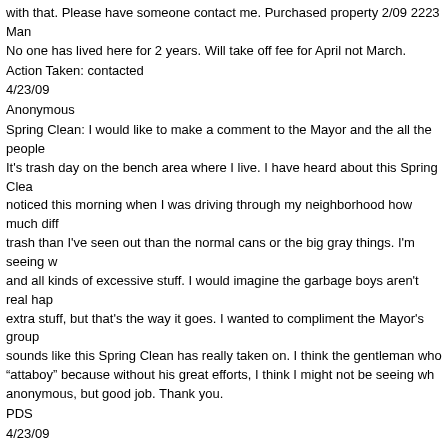with that. Please have someone contact me. Purchased property 2/09 2223 Man No one has lived here for 2 years. Will take off fee for April not March.
Action Taken: contacted
4/23/09
Anonymous
Spring Clean: I would like to make a comment to the Mayor and the all the people It's trash day on the bench area where I live. I have heard about this Spring Clea noticed this morning when I was driving through my neighborhood how much diff trash than I've seen out than the normal cans or the big gray things. I'm seeing w and all kinds of excessive stuff. I would imagine the garbage boys aren't real hap extra stuff, but that's the way it goes. I wanted to compliment the Mayor's group sounds like this Spring Clean has really taken on. I think the gentleman who "attaboy" because without his great efforts, I think I might not be seeing wh anonymous, but good job. Thank you.
PDS
4/23/09
Roma Huck
713-2605
Child Abuse Marathon: I am one of your citizens and I just wanted you to know a gentleman who is part of the radio stations, 1033, he goes by Kiki Love, and he h running marathons this week to highlight child abuse and hopefully help prevent i thought it would be nice to reward him in some way; I'm hoping others are calling too. He finished his fifth marathon today and he has two more ending on Saturda Thank you.
Action Taken: left msj